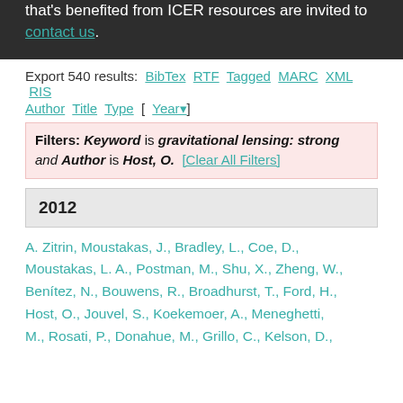that's benefited from ICER resources are invited to contact us.
Export 540 results: BibTex RTF Tagged MARC XML RIS
Author Title Type [ Year ]
Filters: Keyword is gravitational lensing: strong and Author is Host, O. [Clear All Filters]
2012
A. Zitrin, Moustakas, J., Bradley, L., Coe, D., Moustakas, L. A., Postman, M., Shu, X., Zheng, W., Benítez, N., Bouwens, R., Broadhurst, T., Ford, H., Host, O., Jouvel, S., Koekemoer, A., Meneghetti, M., Rosati, P., Donahue, M., Grillo, C., Kelson, D.,